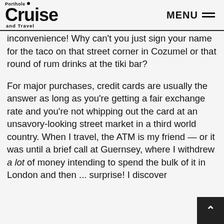Porthole Cruise and Travel — MENU
inconvenience! Why can't you just sign your name for the taco on that street corner in Cozumel or that round of rum drinks at the tiki bar?
For major purchases, credit cards are usually the answer as long as you're getting a fair exchange rate and you're not whipping out the card at an unsavory-looking street market in a third world country. When I travel, the ATM is my friend — or it was until a brief call at Guernsey, where I withdrew a lot of money intending to spend the bulk of it in London and then ... surprise! I discovered that Guernsey currency may only be used in